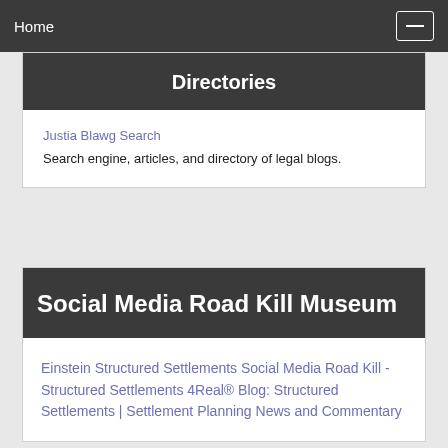Home
Directories
Justia Blawg Search
Search engine, articles, and directory of legal blogs.
Social Media Road Kill Museum
Einstein Structured Settlements Social Media Road Kill - Structured Settlements 4Real® Blog: Structured Settlements | Settlement Planning News and Commentary